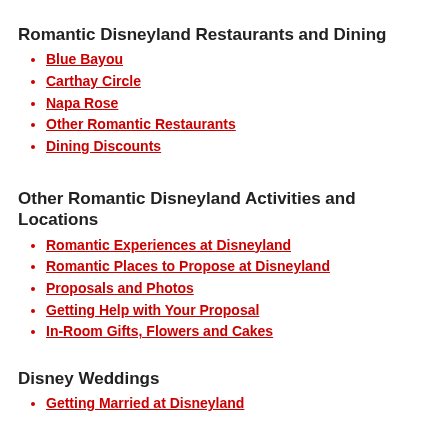Romantic Disneyland Restaurants and Dining
Blue Bayou
Carthay Circle
Napa Rose
Other Romantic Restaurants
Dining Discounts
Other Romantic Disneyland Activities and Locations
Romantic Experiences at Disneyland
Romantic Places to Propose at Disneyland
Proposals and Photos
Getting Help with Your Proposal
In-Room Gifts, Flowers and Cakes
Disney Weddings
Getting Married at Disneyland